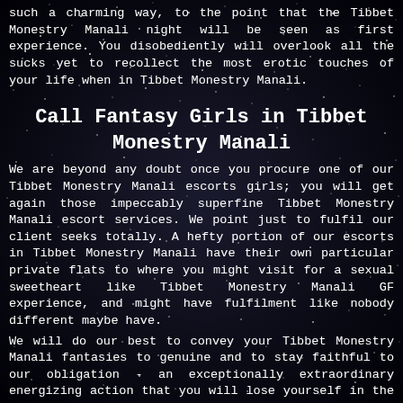such a charming way, to the point that the Tibbet Monestry Manali night will be seen as first experience. You disobediently will overlook all the sucks yet to recollect the most erotic touches of your life when in Tibbet Monestry Manali.
Call Fantasy Girls in Tibbet Monestry Manali
We are beyond any doubt once you procure one of our Tibbet Monestry Manali escorts girls; you will get again those impeccably superfine Tibbet Monestry Manali escort services. We point just to fulfil our client seeks totally. A hefty portion of our escorts in Tibbet Monestry Manali have their own particular private flats to where you might visit for a sexual sweetheart like Tibbet Monestry Manali GF experience, and might have fulfilment like nobody different maybe have.
We will do our best to convey your Tibbet Monestry Manali fantasies to genuine and to stay faithful to our obligation - an exceptionally extraordinary energizing action that you will lose yourself in the arms of Tibbet Monestry Manali escorts. A night with one of our escorts in Tibbet Monestry Manali is certain to be the